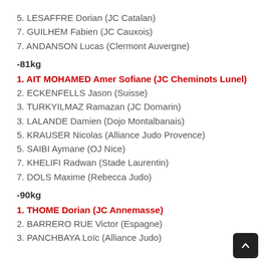5. LESAFFRE Dorian (JC Catalan)
7. GUILHEM Fabien (JC Cauxois)
7. ANDANSON Lucas (Clermont Auvergne)
-81kg
1. AIT MOHAMED Amer Sofiane (JC Cheminots Lunel)
2. ECKENFELLS Jason (Suisse)
3. TURKYILMAZ Ramazan (JC Domarin)
3. LALANDE Damien (Dojo Montalbanais)
5. KRAUSER Nicolas (Alliance Judo Provence)
5. SAIBI Aymane (OJ Nice)
7. KHELIFI Radwan (Stade Laurentin)
7. DOLS Maxime (Rebecca Judo)
-90kg
1. THOME Dorian (JC Annemasse)
2. BARRERO RUE Victor (Espagne)
3. PANCHBAYA Loïc (Alliance Judo)